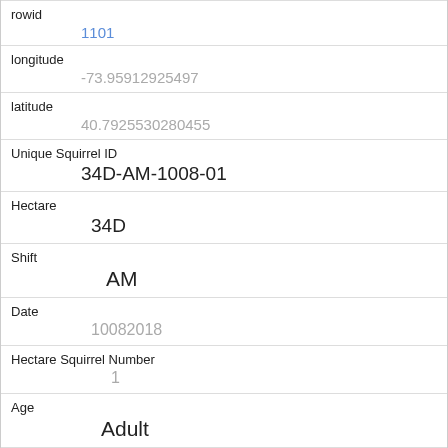| Field | Value |
| --- | --- |
| rowid | 1101 |
| longitude | -73.95912925497 |
| latitude | 40.7925530280455 |
| Unique Squirrel ID | 34D-AM-1008-01 |
| Hectare | 34D |
| Shift | AM |
| Date | 10082018 |
| Hectare Squirrel Number | 1 |
| Age | Adult |
| Primary Fur Color | Black |